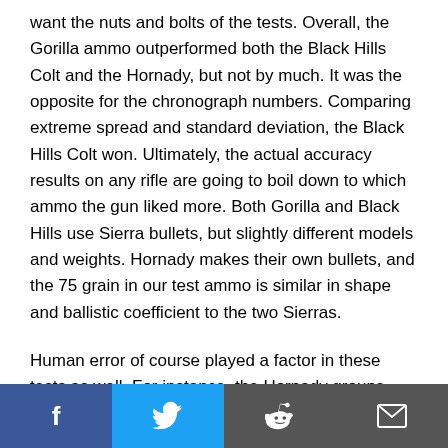want the nuts and bolts of the tests. Overall, the Gorilla ammo outperformed both the Black Hills Colt and the Hornady, but not by much. It was the opposite for the chronograph numbers. Comparing extreme spread and standard deviation, the Black Hills Colt won. Ultimately, the actual accuracy results on any rifle are going to boil down to which ammo the gun liked more. Both Gorilla and Black Hills use Sierra bullets, but slightly different models and weights. Hornady makes their own bullets, and the 75 grain in our test ammo is similar in shape and ballistic coefficient to the two Sierras.
Human error of course played a factor in these tests as well. For instance, the Hornady groups weren't really ...y, and we only had one box ...do any chronograph testing
[Figure (other): Social sharing bar with Facebook, Twitter, Reddit, and Email buttons]